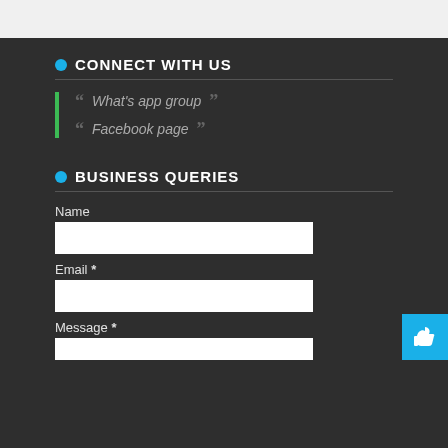CONNECT WITH US
What's app group
Facebook page
BUSINESS QUERIES
Name
Email *
Message *